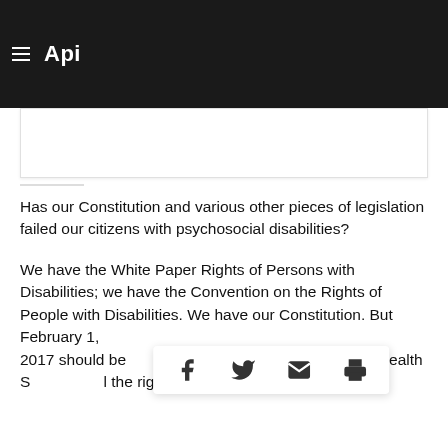Api
[Figure (other): Dark navigation header bar with hamburger menu and logo text 'Api']
Has our Constitution and various other pieces of legislation failed our citizens with psychosocial disabilities?
We have the White Paper Rights of Persons with Disabilities; we have the Convention on the Rights of People with Disabilities. We have our Constitution. But February 1, 2017 should be Africa's D-Day for Mental Health S... and the rights of persons with psychosocial disabilities...
[Figure (infographic): Social share bar with Facebook, Twitter, email, and print icons]